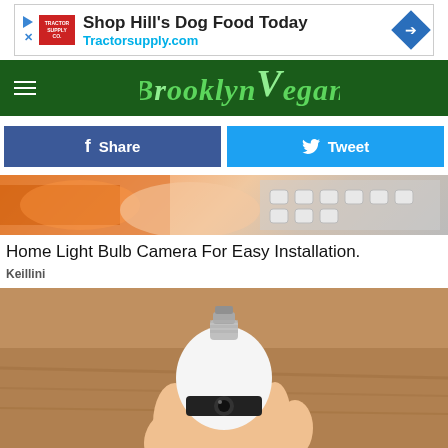[Figure (screenshot): Advertisement banner: Shop Hill's Dog Food Today - Tractorsupply.com]
[Figure (logo): BrooklynVegan website navigation bar with logo]
[Figure (infographic): Facebook Share and Twitter Tweet social sharing buttons]
[Figure (photo): Top portion of article image showing hands holding something orange]
Home Light Bulb Camera For Easy Installation.
Keillini
[Figure (photo): Hand holding a white light bulb camera with screw base]
[Figure (screenshot): Advertisement: In-store shopping, Curbside pickup, Delivery]